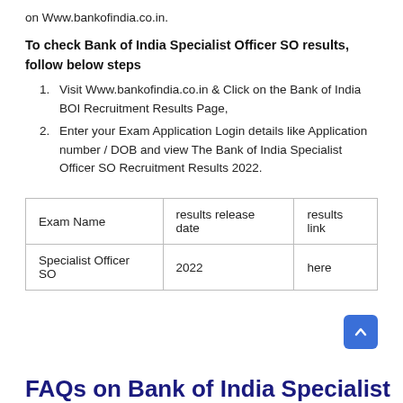on Www.bankofindia.co.in.
To check Bank of India Specialist Officer SO results, follow below steps
Visit Www.bankofindia.co.in & Click on the Bank of India BOI Recruitment Results Page,
Enter your Exam Application Login details like Application number / DOB and view The Bank of India Specialist Officer SO Recruitment Results 2022.
| Exam Name | results release date | results link |
| --- | --- | --- |
| Specialist Officer SO | 2022 | here |
FAQs on Bank of India Specialist